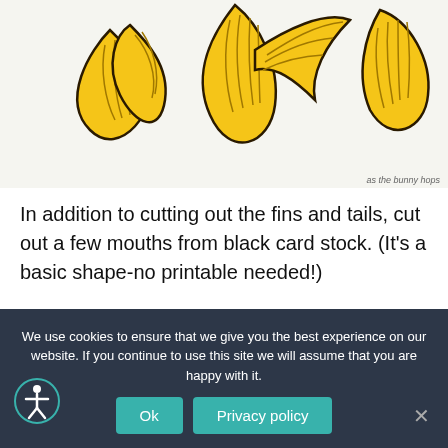[Figure (photo): Yellow decorative fish fins and tails cut from card stock, arranged on a white background, with watermark 'as the bunny hops' in lower right corner.]
In addition to cutting out the fins and tails, cut out a few mouths from black card stock. (It's a basic shape-no printable needed!)
We use cookies to ensure that we give you the best experience on our website. If you continue to use this site we will assume that you are happy with it.